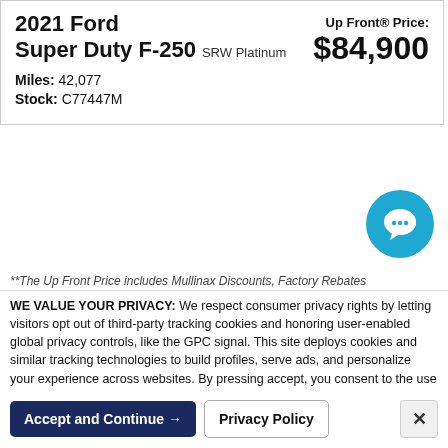2021 Ford Super Duty F-250 SRW Platinum
Up Front® Price: $84,900
Miles: 42,077
Stock: C77447M
[Figure (illustration): Teal circular chat/message bubble button icon]
**The Up Front Price includes Mullinax Discounts, Factory Rebates
WE VALUE YOUR PRIVACY: We respect consumer privacy rights by letting visitors opt out of third-party tracking cookies and honoring user-enabled global privacy controls, like the GPC signal. This site deploys cookies and similar tracking technologies to build profiles, serve ads, and personalize your experience across websites. By pressing accept, you consent to the use of such cookies. To manage your privacy rights or view the categories of personal information we collect and the purposes for which the information is used, click here.
Language: English  ∨   Powered by ComplyAuto
Accept and Continue →   Privacy Policy   ×